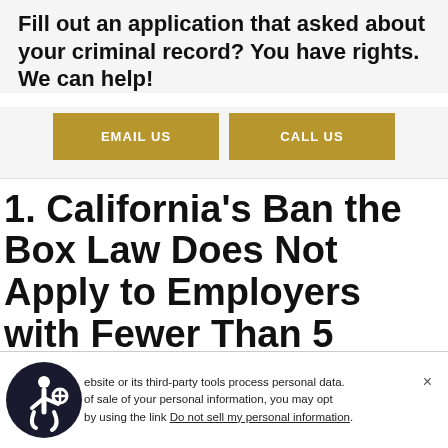Fill out an application that asked about your criminal record? You have rights. We can help!
[Figure (other): Two gold/yellow call-to-action buttons: EMAIL US and CALL US]
1. California’s Ban the Box Law Does Not Apply to Employers with Fewer Than 5 Employees.
ebsite or its third-party tools process personal data. of sale of your personal information, you may opt by using the link Do not sell my personal information.